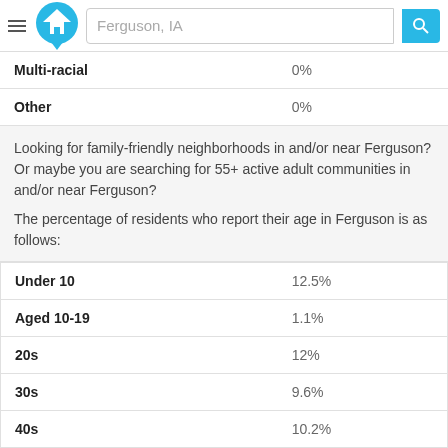Ferguson, IA
| Multi-racial | 0% |
| Other | 0% |
Looking for family-friendly neighborhoods in and/or near Ferguson? Or maybe you are searching for 55+ active adult communities in and/or near Ferguson?
The percentage of residents who report their age in Ferguson is as follows:
| Under 10 | 12.5% |
| Aged 10-19 | 1.1% |
| 20s | 12% |
| 30s | 9.6% |
| 40s | 10.2% |